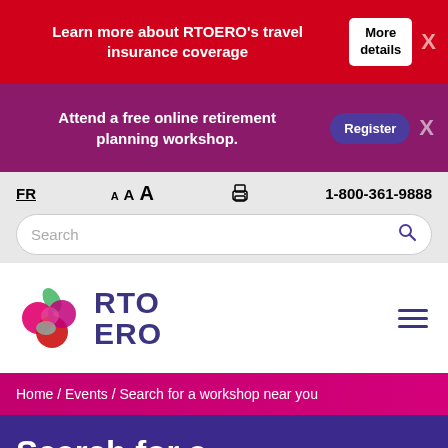Learn more about RTOERO's travel insurance coverage
More details
Attend a free online retirement planning workshop.
Register
FR  A A A  [print icon]  1-800-361-9888  Search
[Figure (logo): RTO ERO logo with colorful overlapping circles/petals in pink, magenta, red, teal and a green leaf]
RTO ERO
Home / Events / Search for a workshop near you
Search for a